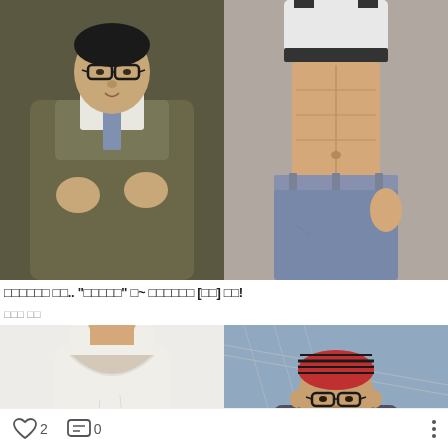[Figure (photo): Left half: Korean man in glasses wearing olive/grey sweater with hands gesturing, TV show setting. Right half: Woman's torso showing toned abs wearing crop top and ripped jeans.]
□□□□□□ □□.. "□□□□□" □~ □□□□□□ [□□] □□!
□□□ □□
[Figure (photo): Left: Person in white tank top showing chest area. Right: Same Korean man from above wearing red striped skull cap and glasses, outdoor bridge background.]
♡ 2   💬 0   ⋮